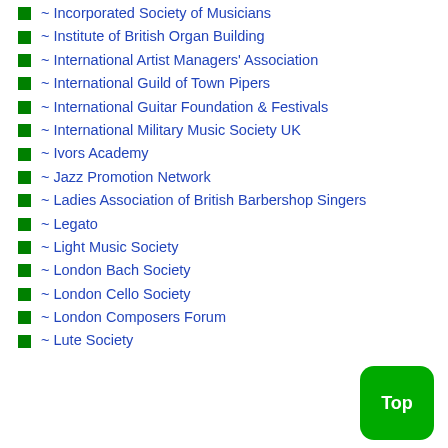~ Incorporated Society of Musicians
~ Institute of British Organ Building
~ International Artist Managers' Association
~ International Guild of Town Pipers
~ International Guitar Foundation & Festivals
~ International Military Music Society UK
~ Ivors Academy
~ Jazz Promotion Network
~ Ladies Association of British Barbershop Singers
~ Legato
~ Light Music Society
~ London Bach Society
~ London Cello Society
~ London Composers Forum
~ Lute Society